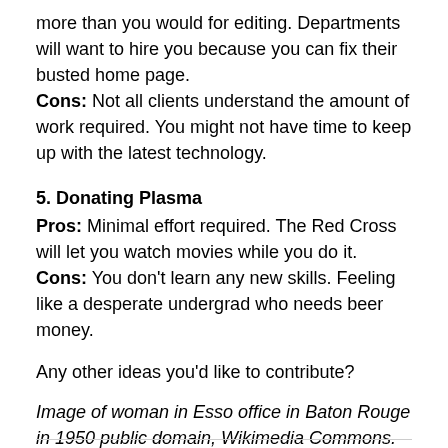more than you would for editing. Departments will want to hire you because you can fix their busted home page.
Cons: Not all clients understand the amount of work required. You might not have time to keep up with the latest technology.
5. Donating Plasma
Pros: Minimal effort required. The Red Cross will let you watch movies while you do it.
Cons: You don't learn any new skills. Feeling like a desperate undergrad who needs beer money.
Any other ideas you'd like to contribute?
Image of woman in Esso office in Baton Rouge in 1950 public domain, Wikimedia Commons.